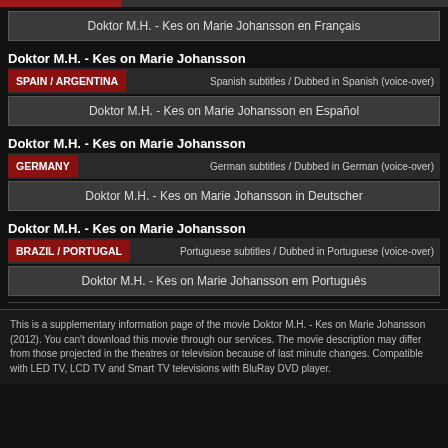Doktor M.H. - Kes on Marie Johansson en Français
Doktor M.H. - Kes on Marie Johansson
SPAIN / ARGENTINA — Spanish subtitles / Dubbed in Spanish (voice-over)
Doktor M.H. - Kes on Marie Johansson en Español
Doktor M.H. - Kes on Marie Johansson
GERMANY — German subtitles / Dubbed in German (voice-over)
Doktor M.H. - Kes on Marie Johansson in Deutscher
Doktor M.H. - Kes on Marie Johansson
BRAZIL / PORTUGAL — Portuguese subtitles / Dubbed in Portuguese (voice-over)
Doktor M.H. - Kes on Marie Johansson em Português
This is a supplementary information page of the movie Doktor M.H. - Kes on Marie Johansson (2012). You can't download this movie through our services. The movie description may differ from those projected in the theatres or television because of last minute changes. Compatible with LED TV, LCD TV and Smart TV televisions with BluRay DVD player.